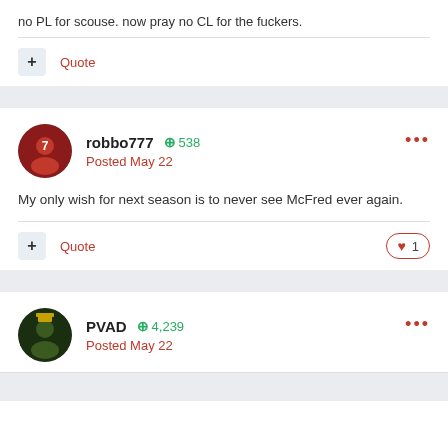no PL for scouse. now pray no CL for the fuckers.
+ Quote
robbo777  +538  Posted May 22
My only wish for next season is to never see McFred ever again.
+ Quote  ♥ 1
PVAD  +4,239  Posted May 22